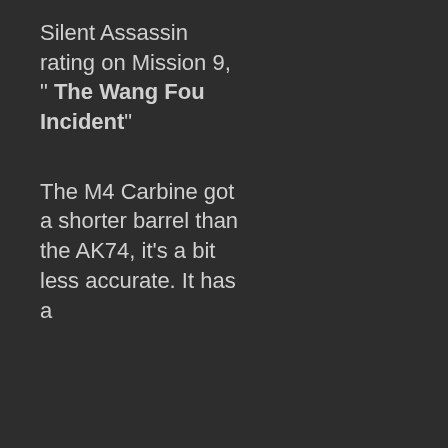Silent Assassin rating on Mission 9, " The Wang Fou Incident"
The M4 Carbine got a shorter barrel than the AK74, it's a bit less accurate. It has a